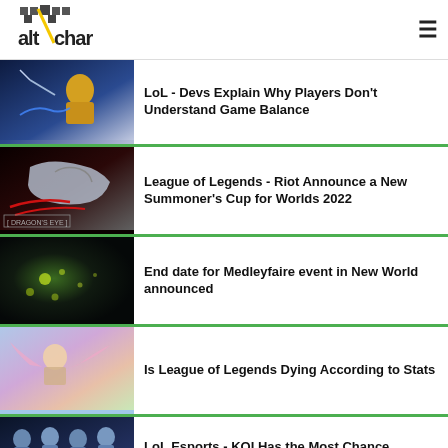AltChar
[Figure (screenshot): Gaming character artwork – fighter in action pose]
LoL - Devs Explain Why Players Don't Understand Game Balance
[Figure (screenshot): Dragon's Eye artwork – silver dragon head on dark background with Dragon's Eye text]
League of Legends - Riot Announce a New Summoner's Cup for Worlds 2022
[Figure (screenshot): New World Medleyfaire event – glowing green lights in dark forest]
End date for Medleyfaire event in New World announced
[Figure (screenshot): League of Legends character artwork – fantasy scene with pastel colors]
Is League of Legends Dying According to Stats
[Figure (screenshot): LoL Esports team photo – players in blue uniforms]
LoL Esports - KOI Has the Most Chance